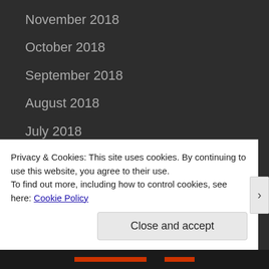November 2018
October 2018
September 2018
August 2018
July 2018
June 2018
May 2018
April 2018
February 2018
Privacy & Cookies: This site uses cookies. By continuing to use this website, you agree to their use.
To find out more, including how to control cookies, see here: Cookie Policy
Close and accept